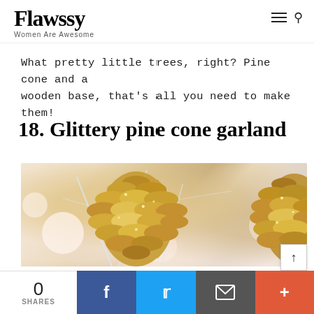Flawssy — Women Are Awesome
What pretty little trees, right? Pine cone and a wooden base, that's all you need to make them!
18. Glittery pine cone garland
[Figure (photo): Close-up photo of gold glitter pine cones on a white Christmas tree with bokeh bokeh background]
0 SHARES | Facebook | Twitter | Email | More